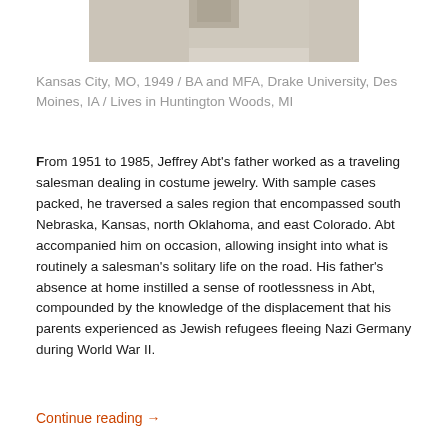[Figure (photo): Partial view of a sculpture or object on a light stone/concrete surface, cropped at the top of the page]
Kansas City, MO, 1949 / BA and MFA, Drake University, Des Moines, IA / Lives in Huntington Woods, MI
From 1951 to 1985, Jeffrey Abt’s father worked as a traveling salesman dealing in costume jewelry. With sample cases packed, he traversed a sales region that encompassed south Nebraska, Kansas, north Oklahoma, and east Colorado. Abt accompanied him on occasion, allowing insight into what is routinely a salesman’s solitary life on the road. His father’s absence at home instilled a sense of rootlessness in Abt, compounded by the knowledge of the displacement that his parents experienced as Jewish refugees fleeing Nazi Germany during World War II.
Continue reading →